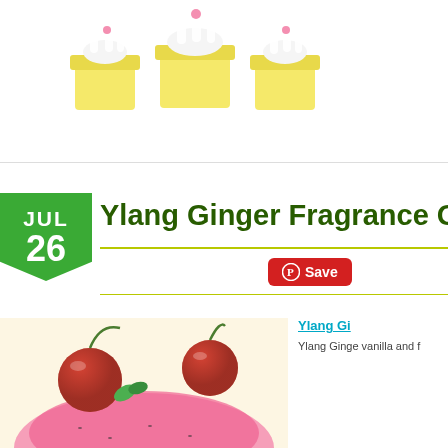[Figure (photo): Yellow cupcake-shaped soaps with white marshmallow toppings on white background]
Ylang Ginger Fragrance O
Save
[Figure (photo): Cherry ice cream dessert with dark red cherries and mint leaf on pink creamy base]
Ylang Gi
Ylang Ginge vanilla and f